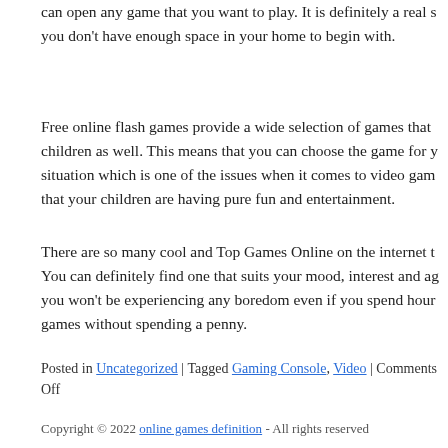can open any game that you want to play. It is definitely a real s… you don't have enough space in your home to begin with.
Free online flash games provide a wide selection of games that … children as well. This means that you can choose the game for y… situation which is one of the issues when it comes to video gam… that your children are having pure fun and entertainment.
There are so many cool and Top Games Online on the internet t… You can definitely find one that suits your mood, interest and ag… you won't be experiencing any boredom even if you spend hour… games without spending a penny.
Posted in Uncategorized | Tagged Gaming Console, Video | Comments Off
Copyright © 2022 online games definition - All rights reserved